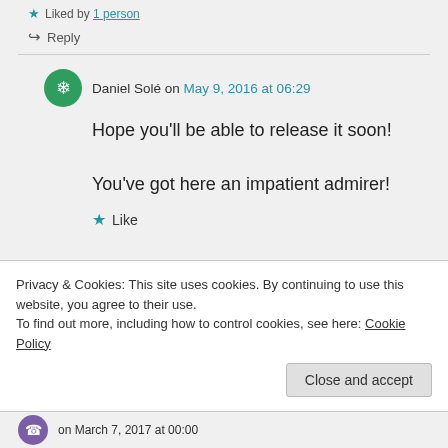Liked by 1 person
Reply
Daniel Solé on May 9, 2016 at 06:29
Hope you'll be able to release it soon!
You've got here an impatient admirer!
Like
Privacy & Cookies: This site uses cookies. By continuing to use this website, you agree to their use.
To find out more, including how to control cookies, see here: Cookie Policy
Close and accept